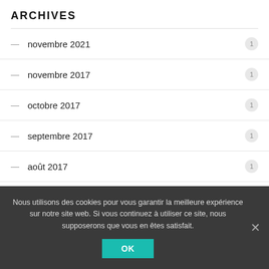ARCHIVES
novembre 2021 — 1
novembre 2017 — 1
octobre 2017 — 1
septembre 2017 — 1
août 2017 — 1
juillet 2017 — 1
Nous utilisons des cookies pour vous garantir la meilleure expérience sur notre site web. Si vous continuez à utiliser ce site, nous supposerons que vous en êtes satisfait. OK